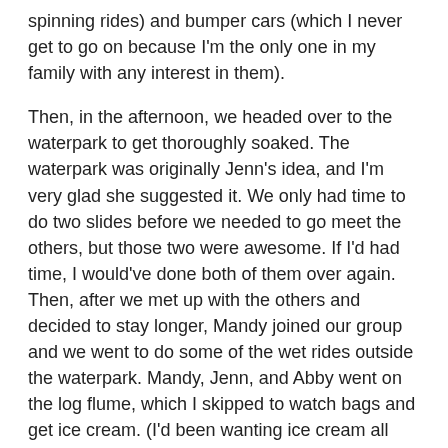spinning rides) and bumper cars (which I never get to go on because I'm the only one in my family with any interest in them).
Then, in the afternoon, we headed over to the waterpark to get thoroughly soaked. The waterpark was originally Jenn's idea, and I'm very glad she suggested it. We only had time to do two slides before we needed to go meet the others, but those two were awesome. If I'd had time, I would've done both of them over again. Then, after we met up with the others and decided to stay longer, Mandy joined our group and we went to do some of the wet rides outside the waterpark. Mandy, Jenn, and Abby went on the log flume, which I skipped to watch bags and get ice cream. (I'd been wanting ice cream all day, but no one else was all that interested.) Then we went on the Whitewater Canyon ride, which is similar to one of my favorite rides at Busch Gardens, the Roman Rapids. I think I may have gotten as wet on Whitewater Canyon as I did on any of the water slides, to be honest. It was absolutely awesome.
The final highlight of the two weeks? Risk. I've wanted to